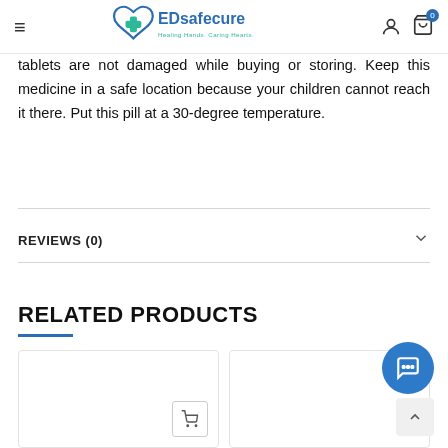EDsafecure — Healing Hands. Caring Hearts.
tablets are not damaged while buying or storing. Keep this medicine in a safe location because your children cannot reach it there. Put this pill at a 30-degree temperature.
REVIEWS (0)
RELATED PRODUCTS